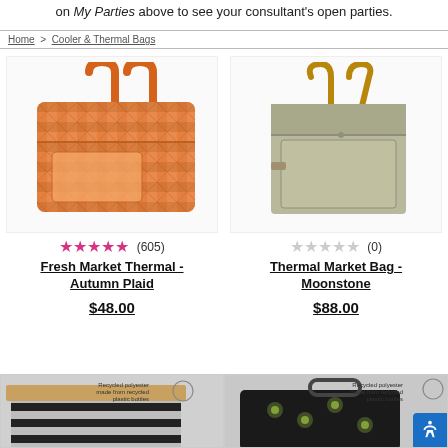on My Parties above to see your consultant's open parties.
Home > Cooler & Thermal Bags
[Figure (photo): Orange plaid thermal bag with orange handles]
★★★★★ (605)
Fresh Market Thermal - Autumn Plaid
$48.00
[Figure (photo): Gray/green tote bag with tan leather handles]
★★★★★ (0)
Thermal Market Bag - Moonstone
$88.00
[Figure (photo): Black and white striped thermal bag with wooden lid, partially visible]
[Figure (photo): Black floral patterned thermal bag, partially visible]